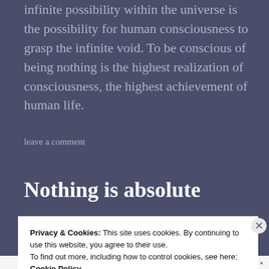infinite possibility within the universe is the possibility for human consciousness to grasp the infinite void. To be conscious of being nothing is the highest realization of consciousness, the highest achievement of human life.
leave a comment
Nothing is absolute
december 1, 2014
Privacy & Cookies: This site uses cookies. By continuing to use this website, you agree to their use.
To find out more, including how to control cookies, see here:
Cookie Policy
Close and accept